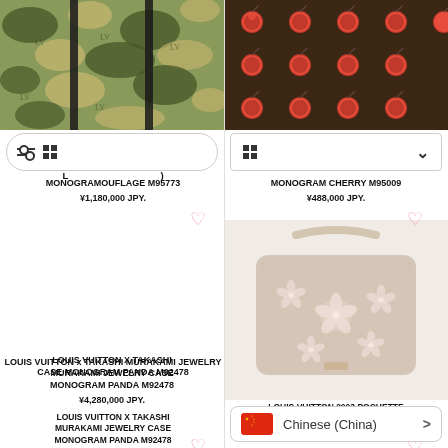[Figure (photo): Louis Vuitton Monogramouflage bag - camouflage pattern in green with LV monogram stripes]
MONOGRAMOUFLAGE M95773
¥1,180,000 JPY.
[Figure (photo): Louis Vuitton Monogram Cherry bag - dark brown monogram with pink cherries pattern]
MONOGRAM CHERRY M95009
¥488,000 JPY.
[Figure (photo): Louis Vuitton x Takashi Murakami Jewelry Case Monogram Panda M92478 - blank/empty product area]
LOUIS VUITTON x TAKASHI MURAKAMI JEWELRY CASE MONOGRAM PANDA M92478
¥4,280,000 JPY.
[Figure (photo): Louis Vuitton 2003 Pochette Accessoires Cherry Blossom M92006 - light pink/cream bag with floral pattern]
LOUIS VUITTON 2003 POCHETTE ACCESSOIRES CHERRY BLOSSOM M92006
Chinese (China)